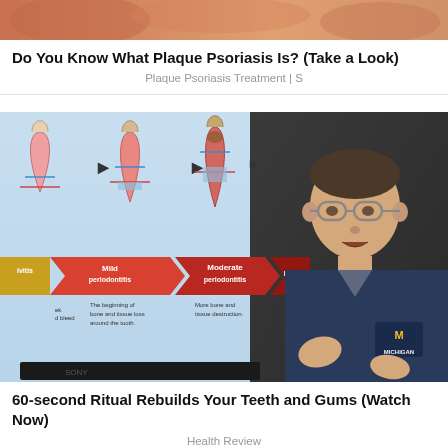[Figure (photo): Partial photo thumbnail showing reddish skin tones, cropped at top of page]
Do You Know What Plaque Psoriasis Is? (Take a Look)
Plaque Psoriasis Treatment | S
[Figure (photo): Video thumbnail showing a doctor in University of Michigan navy scrubs speaking in front of a medical diagram illustrating stages of periodontitis (gingivitis, mild periodontitis, moderate periodontitis) with dental cross-section illustrations]
60-second Ritual Rebuilds Your Teeth and Gums (Watch Now)
Health Review